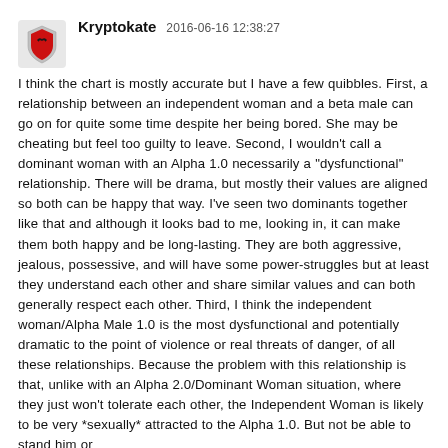Kryptokate   2016-06-16 12:38:27
I think the chart is mostly accurate but I have a few quibbles. First, a relationship between an independent woman and a beta male can go on for quite some time despite her being bored. She may be cheating but feel too guilty to leave. Second, I wouldn't call a dominant woman with an Alpha 1.0 necessarily a "dysfunctional" relationship. There will be drama, but mostly their values are aligned so both can be happy that way. I've seen two dominants together like that and although it looks bad to me, looking in, it can make them both happy and be long-lasting. They are both aggressive, jealous, possessive, and will have some power-struggles but at least they understand each other and share similar values and can both generally respect each other. Third, I think the independent woman/Alpha Male 1.0 is the most dysfunctional and potentially dramatic to the point of violence or real threats of danger, of all these relationships. Because the problem with this relationship is that, unlike with an Alpha 2.0/Dominant Woman situation, where they just won't tolerate each other, the Independent Woman is likely to be very *sexually* attracted to the Alpha 1.0. But not be able to stand him or